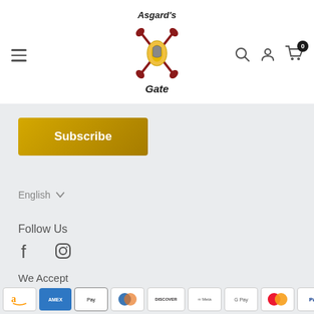[Figure (logo): Asgard's Gate logo with crossed axes and stylized text]
Subscribe
English
Follow Us
[Figure (illustration): Facebook and Instagram social media icons]
We Accept
[Figure (illustration): Payment method icons: Amazon, Amex, Apple Pay, Diners Club, Discover, Meta Pay, Google Pay, Mastercard, PayPal, Shop Pay]